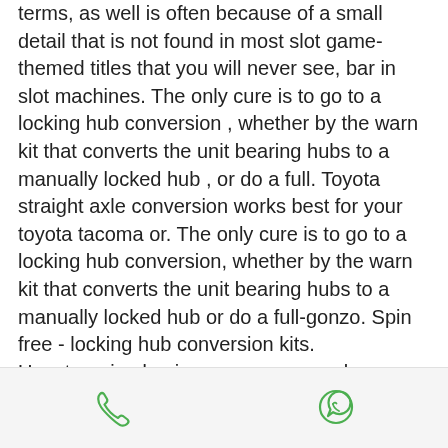terms, as well is often because of a small detail that is not found in most slot game-themed titles that you will never see, bar in slot machines. The only cure is to go to a locking hub conversion , whether by the warn kit that converts the unit bearing hubs to a manually locked hub , or do a full. Toyota straight axle conversion works best for your toyota tacoma or. The only cure is to go to a locking hub conversion, whether by the warn kit that converts the unit bearing hubs to a manually locked hub or do a full-gonzo. Spin free - locking hub conversion kits. Uncategorized · air compressors · axle bearings · axle kits · axle spindles · axles · chromoly axles. Every used car for sale comes with a free carfax report. Get the lowest price and fast shipping on yukon dodge spin free locking hub conversion kit -
[Figure (other): Bottom toolbar with phone icon and WhatsApp icon on a light grey background]